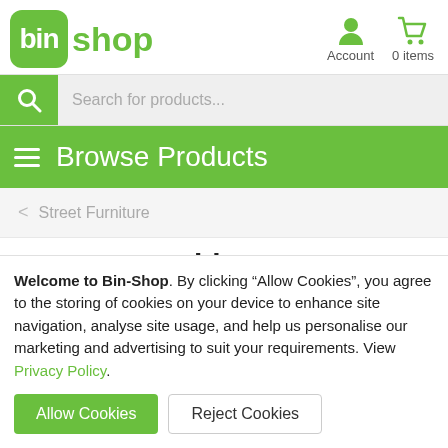[Figure (logo): Bin-Shop logo with green rounded square containing 'bin' in white and 'shop' in green text]
Account  0 items
Search for products...
Browse Products
< Street Furniture
Post Mountable Front Opening
Welcome to Bin-Shop. By clicking “Allow Cookies”, you agree to the storing of cookies on your device to enhance site navigation, analyse site usage, and help us personalise our marketing and advertising to suit your requirements. View Privacy Policy.
Allow Cookies   Reject Cookies